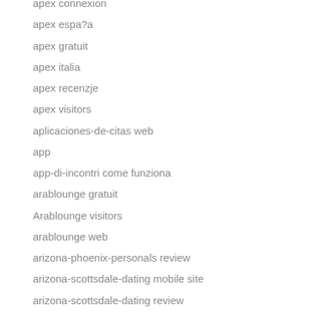apex connexion
apex espa?a
apex gratuit
apex italia
apex recenzje
apex visitors
aplicaciones-de-citas web
app
app-di-incontri come funziona
arablounge gratuit
Arablounge visitors
arablounge web
arizona-phoenix-personals review
arizona-scottsdale-dating mobile site
arizona-scottsdale-dating review